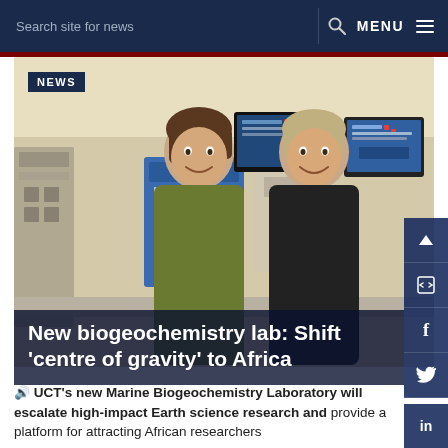Search site for news   🔍   MENU ≡
[Figure (photo): Two women standing in a marine biogeochemistry laboratory, smiling at the camera. One wears an olive green top, the other a black vest. Behind them is a blue analytical instrument and computer monitors showing scientific data.]
New biogeochemistry lab: Shift 'centre of gravity' to Africa
🔊 UCT's new Marine Biogeochemistry Laboratory will escalate high-impact Earth science research and provide a platform for attracting African researchers